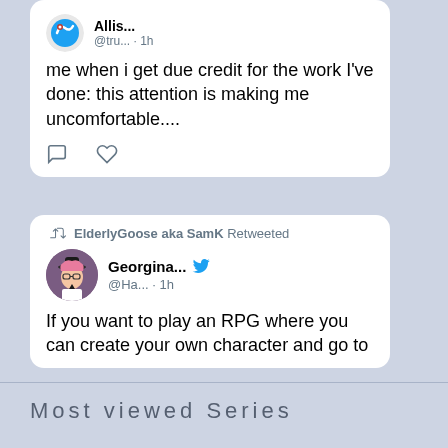[Figure (screenshot): Tweet card from user Allis... @tru... · 1h with text: me when i get due credit for the work I've done: this attention is making me uncomfortable....]
[Figure (screenshot): Retweeted tweet card: ElderlyGoose aka SamK Retweeted. Georgina... @Ha... · 1h. Text: If you want to play an RPG where you can create your own character and go to]
Most viewed Series